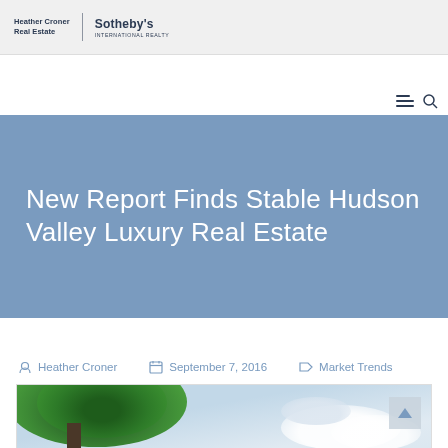Heather Croner Real Estate | Sotheby's International Realty
New Report Finds Stable Hudson Valley Luxury Real Estate
Heather Croner   September 7, 2016   Market Trends
[Figure (photo): Outdoor photo showing large green trees in foreground with a partly cloudy blue sky in the background.]